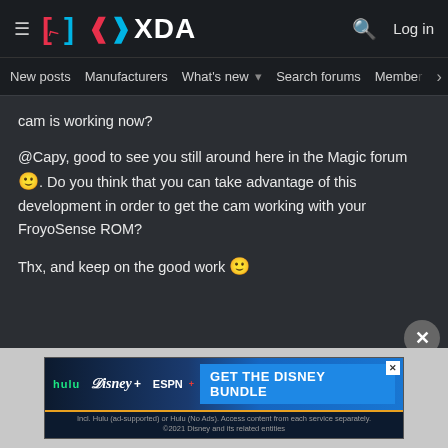XDA — New posts  Manufacturers  What's new  Search forums  Members
cam is working now?

@Capy, good to see you still around here in the Magic forum 🙂. Do you think that you can take advantage of this development in order to get the cam working with your FroyoSense ROM?

Thx, and keep on the good work 🙂
[Figure (screenshot): Disney Bundle advertisement banner — Hulu, Disney+, ESPN+ logos with 'GET THE DISNEY BUNDLE' call to action button. Fine print: Incl. Hulu (ad-supported) or Hulu (No Ads). Access content from each service separately. ©2021 Disney and its related entities]